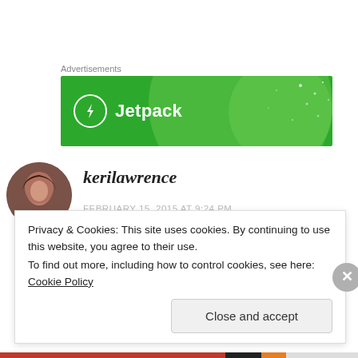Advertisements
[Figure (illustration): Jetpack advertisement banner with green background, large semi-transparent circle, white Jetpack logo with lightning bolt icon, and white text 'Jetpack']
[Figure (photo): Circular avatar photo of a young woman with dark hair, smiling]
kerilawrence
FEBRUARY 15, 2015 AT 9:24 PM
Privacy & Cookies: This site uses cookies. By continuing to use this website, you agree to their use.
To find out more, including how to control cookies, see here: Cookie Policy
Close and accept